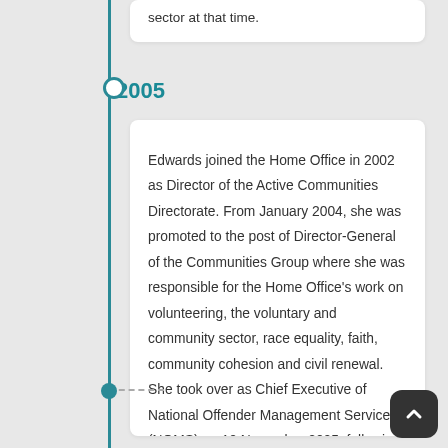sector at that time.
2005
Edwards joined the Home Office in 2002 as Director of the Active Communities Directorate. From January 2004, she was promoted to the post of Director-General of the Communities Group where she was responsible for the Home Office's work on volunteering, the voluntary and community sector, race equality, faith, community cohesion and civil renewal. She took over as Chief Executive of National Offender Management Service (NOMS) on 10 November 2005, following the resignation